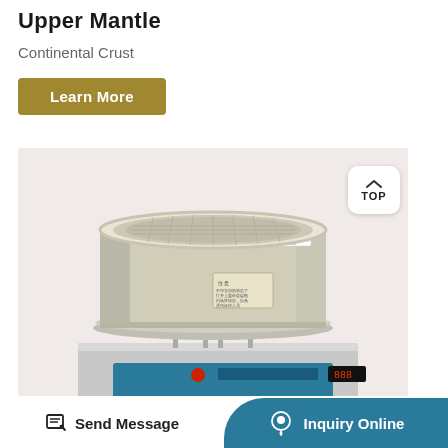Upper Mantle
Continental Crust
Learn More
[Figure (photo): Laboratory heating mantle device — a cylindrical beige/cream colored upper mantle heating unit sitting on a base with a teal digital temperature controller display with LED readout. The mantle has a woven heating element visible at the top opening. There is a small label on the side. The device sits on a stainless steel platform.]
Send Message
Inquiry Online